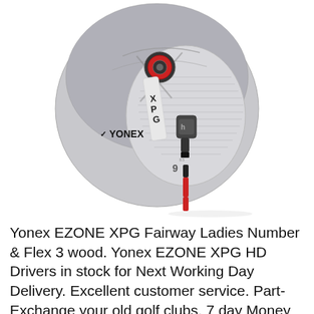[Figure (photo): Yonex EZONE XPG golf club driver head, silver and black metallic finish with red accent, YONEX logo visible, hosel and red shaft visible at bottom, photographed on white background]
Yonex EZONE XPG Fairway Ladies Number & Flex 3 wood. Yonex EZONE XPG HD Drivers in stock for Next Working Day Delivery. Excellent customer service. Part-Exchange your old golf clubs. 7 day Money Back Trial